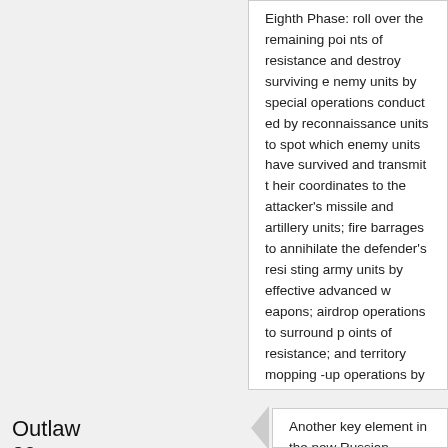Eighth Phase: roll over the remaining points of resistance and destroy surviving enemy units by special operations conducted by reconnaissance units to spot which enemy units have survived and transmit their coordinates to the attacker's missile and artillery units; fire barrages to annihilate the defender's resisting army units by effective advanced weapons; airdrop operations to surround points of resistance; and territory mopping-up operations by ground troops.
Log in or register to post comments
Outlaw 09
Sun
Another key element in the new Russian military doctrine of strategic/tactical UIW i